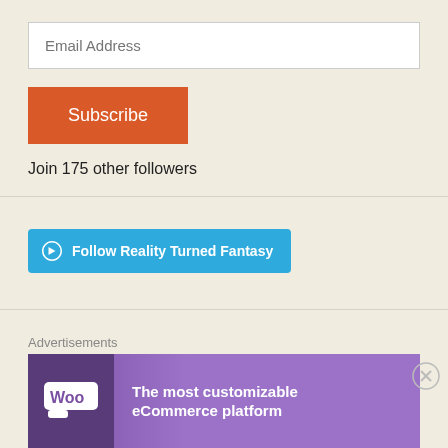Email Address
Subscribe
Join 175 other followers
[Figure (other): WordPress Follow button: 'Follow Reality Turned Fantasy' in cyan/blue with WordPress logo]
Advertisements
[Figure (logo): Longreads logo: red circle with L and LONGREADS text in large bold capitals]
Advertisements
[Figure (other): WooCommerce advertisement banner: purple gradient with WooCommerce logo on left and 'The most customizable eCommerce platform' text on right]